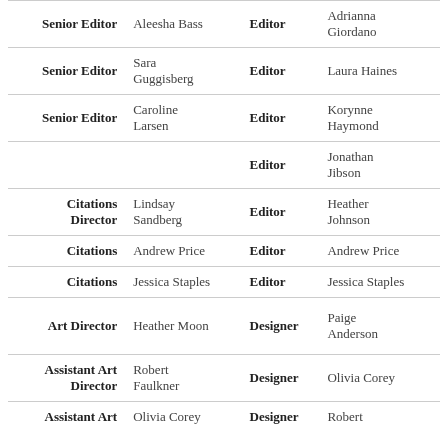| Role | Name | Role2 | Name2 |
| --- | --- | --- | --- |
| Senior Editor | Aleesha Bass | Editor | Adrianna Giordano |
| Senior Editor | Sara Guggisberg | Editor | Laura Haines |
| Senior Editor | Caroline Larsen | Editor | Korynne Haymond |
|  |  | Editor | Jonathan Jibson |
| Citations Director | Lindsay Sandberg | Editor | Heather Johnson |
| Citations | Andrew Price | Editor | Andrew Price |
| Citations | Jessica Staples | Editor | Jessica Staples |
| Art Director | Heather Moon | Designer | Paige Anderson |
| Assistant Art Director | Robert Faulkner | Designer | Olivia Corey |
| Assistant Art | Olivia Corey | Designer | Robert |